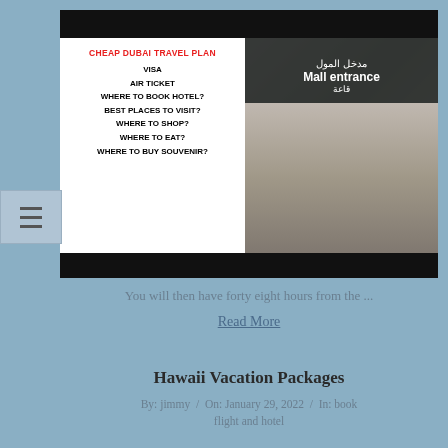[Figure (photo): Thumbnail image for Dubai travel plan video/blog post. Left half shows white overlay with text listing: CHEAP DUBAI TRAVEL PLAN, VISA, AIR TICKET, WHERE TO BOOK HOTEL?, BEST PLACES TO VISIT?, WHERE TO SHOP?, WHERE TO EAT?, WHERE TO BUY SOUVENIR?. Right half shows two people standing in front of a mall entrance sign in Arabic and English.]
You will then have forty eight hours from the ...
Read More
Hawaii Vacation Packages
By: jimmy / On: January 29, 2022 / In: book flight and hotel